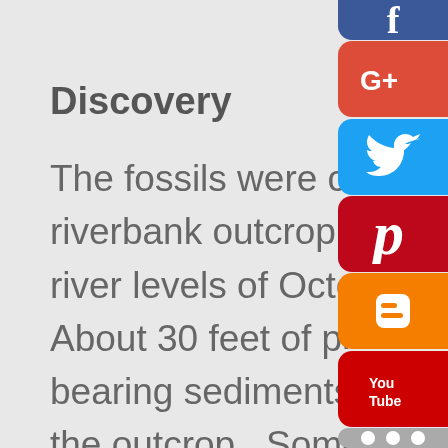Discovery
The fossils were collected in a riverbank outcrop during the low river levels of October & November. About 30 feet of phospho bearing sediments were exposed at the outcrop. Some of the sediments showed evidence of profound erosion. All the fossils except for rhinoceros material were collected
[Figure (infographic): Social media share buttons on right side: Facebook (blue), Google+ (red), Twitter (light blue), Pinterest (dark red), Blogger (orange), YouTube (red), More (gray)]